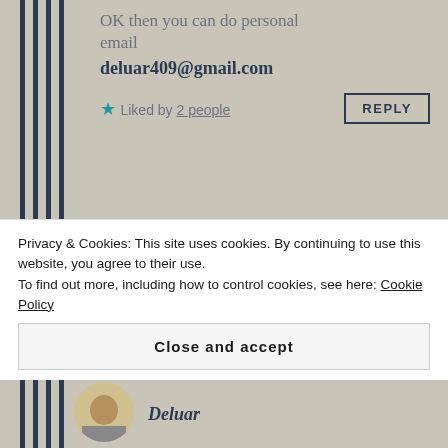OK then you can do personal email
deluar409@gmail.com
Liked by 2 people
[Figure (photo): Circular profile photo of a woman with red hat, dark hair, black outfit]
The Poetry Project
JUNE 24, 2021 AT 5:51 PM
Sure, I'll do it in free time. Please support my blog by
Privacy & Cookies: This site uses cookies. By continuing to use this website, you agree to their use. To find out more, including how to control cookies, see here: Cookie Policy
Close and accept
[Figure (photo): Circular profile photo at bottom of page, partially visible]